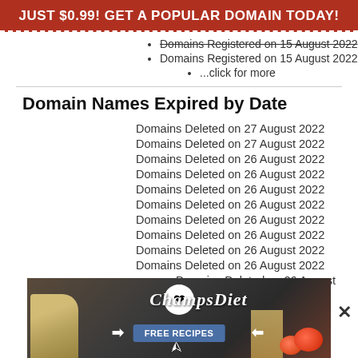[Figure (infographic): Red banner advertisement: JUST $0.99! GET A POPULAR DOMAIN TODAY!]
Domains Registered on 15 August 2022 (strikethrough)
Domains Registered on 15 August 2022
...click for more
Domain Names Expired by Date
Domains Deleted on 27 August 2022
Domains Deleted on 27 August 2022
Domains Deleted on 26 August 2022
Domains Deleted on 26 August 2022
Domains Deleted on 26 August 2022
Domains Deleted on 26 August 2022
Domains Deleted on 26 August 2022
Domains Deleted on 26 August 2022
Domains Deleted on 26 August 2022
Domains Deleted on 26 August 2022
Domains Deleted on 26 August 2022
[Figure (photo): ChampsDiet advertisement banner with food items (cheese, tomatoes, pasta), circular logo with American flag heart, brand name ChampsDiet in italic script, and FREE RECIPES button with arrows]